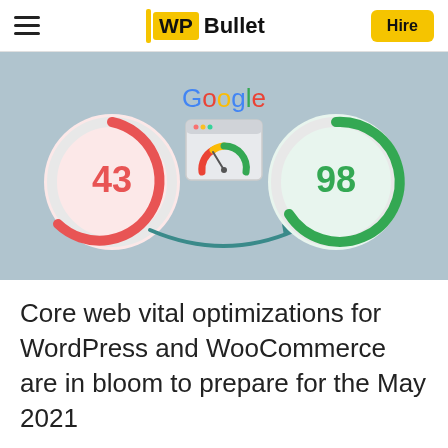WP Bullet  Hire
[Figure (infographic): Google PageSpeed score improvement infographic showing a red circle with score 43 on the left, a Google PageSpeed Insights icon in the center, and a green circle with score 98 on the right, with a teal arrow pointing from left to right indicating improvement.]
Core web vital optimizations for WordPress and WooCommerce are in bloom to prepare for the May 2021